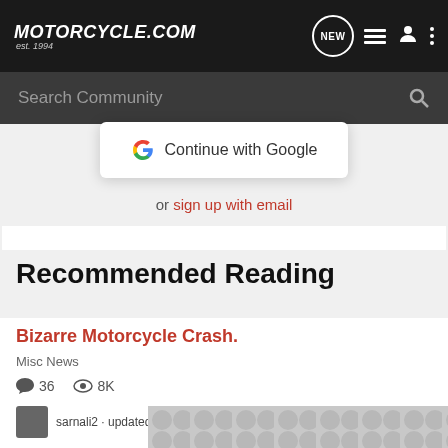Motorcycle.com est. 1994
Search Community
Continue with Google
or sign up with email
Recommended Reading
Bizarre Motorcycle Crash.
Misc News
36  8K
sarnali2 · updated Dec 6, 2006